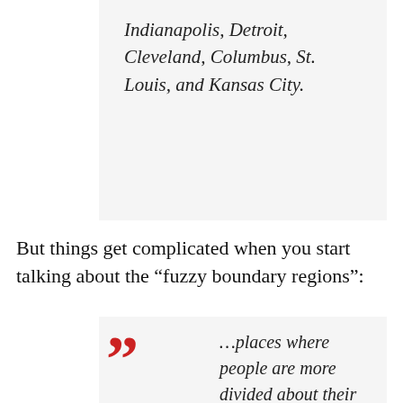Indianapolis, Detroit, Cleveland, Columbus, St. Louis, and Kansas City.
But things get complicated when you start talking about the “fuzzy boundary regions”:
…places where people are more divided about their alleged Midwesternness. This includes cities like Pittsburgh and Buffalo, New York, where respondents were torn between Midwest and East Coast allegiance; cities like Louisville and